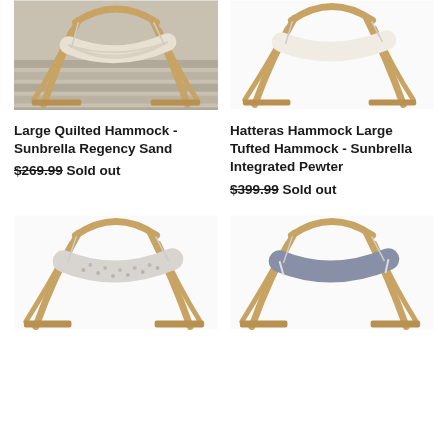[Figure (photo): Large Quilted Hammock on wooden arc stand - Sunbrella Regency Sand, top-left product image]
[Figure (photo): Hatteras Hammock Large Tufted Hammock on wooden arc stand - Sunbrella Integrated Pewter, top-right product image]
Large Quilted Hammock - Sunbrella Regency Sand
$269.99 Sold out
Hatteras Hammock Large Tufted Hammock - Sunbrella Integrated Pewter
$399.99 Sold out
[Figure (photo): Hammock with light dotted/spotted fabric on wooden arc stand, bottom-left product image]
[Figure (photo): Hammock with grey/blue fabric on wooden arc stand, bottom-right product image]